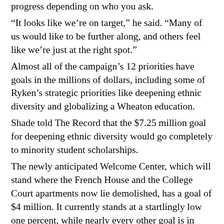progress depending on who you ask.
“It looks like we’re on target,” he said. “Many of us would like to be further along, and others feel like we’re just at the right spot.”
Almost all of the campaign’s 12 priorities have goals in the millions of dollars, including some of Ryken’s strategic priorities like deepening ethnic diversity and globalizing a Wheaton education.
Shade told The Record that the $7.25 million goal for deepening ethnic diversity would go completely to minority student scholarships.
The newly anticipated Welcome Center, which will stand where the French House and the College Court apartments now lie demolished, has a goal of $4 million. It currently stands at a startlingly low one percent, while nearly every other goal is in double digits.
Is it unusual, then, for the college to tear down the buildings in anticipation for a new building that is far from being funded? Shade explained that the funding is in...